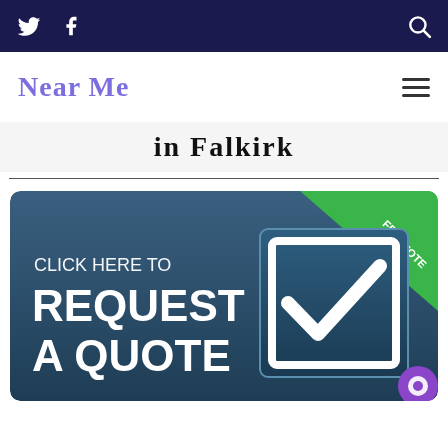Twitter | Facebook | Search
Near Me
in Falkirk
[Figure (infographic): Click here to Request A Quote banner with a blue background, checkbox icon, and green FREE QUOTE corner ribbon]